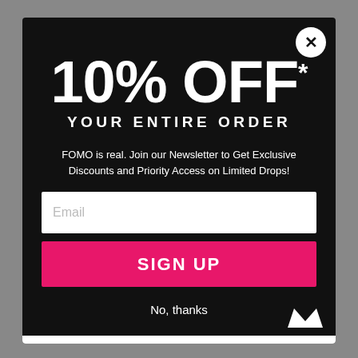10% OFF*
YOUR ENTIRE ORDER
FOMO is real. Join our Newsletter to Get Exclusive Discounts and Priority Access on Limited Drops!
Email
SIGN UP
No, thanks